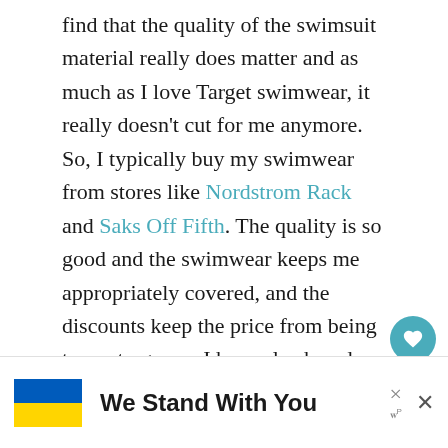find that the quality of the swimsuit material really does matter and as much as I love Target swimwear, it really doesn't cut for me anymore. So, I typically buy my swimwear from stores like Nordstrom Rack and Saks Off Fifth. The quality is so good and the swimwear keeps me appropriately covered, and the discounts keep the price from being too outrageous. I have also heard really positive things about Cupshe swimwear on Amazon.
[Figure (infographic): Advertisement banner with Ukrainian flag (blue and yellow) and text 'We Stand With You']